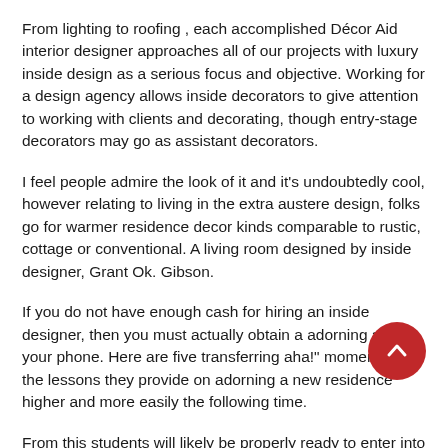From lighting to roofing , each accomplished Décor Aid interior designer approaches all of our projects with luxury inside design as a serious focus and objective. Working for a design agency allows inside decorators to give attention to working with clients and decorating, though entry-stage decorators may go as assistant decorators.
I feel people admire the look of it and it's undoubtedly cool, however relating to living in the extra austere design, folks go for warmer residence decor kinds comparable to rustic, cottage or conventional. A living room designed by inside designer, Grant Ok. Gibson.
If you do not have enough cash for hiring an inside designer, then you must actually obtain a adorning app on your phone. Here are five transferring aha!" moments and the lessons they provide on adorning a new residence higher and more easily the following time.
From this students will likely be properly ready to enter into the workforce as a design advisor or proceed to the